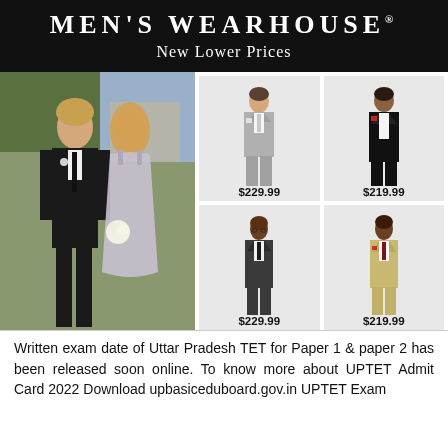MEN'S WEARHOUSE
New Lower Prices
[Figure (photo): Couple at wedding, man in black tuxedo and woman in silver gown]
[Figure (photo): Light gray suit, price $229.99]
[Figure (photo): Black tuxedo with bow tie, price $219.99]
[Figure (photo): Dark charcoal suit, price $229.99]
[Figure (photo): Tan/beige suit with burgundy tie, price $219.99]
Written exam date of Uttar Pradesh TET for Paper 1 & paper 2 has been released soon online. To know more about UPTET Admit Card 2022 Download upbasiceduboard.gov.in UPTET Exam